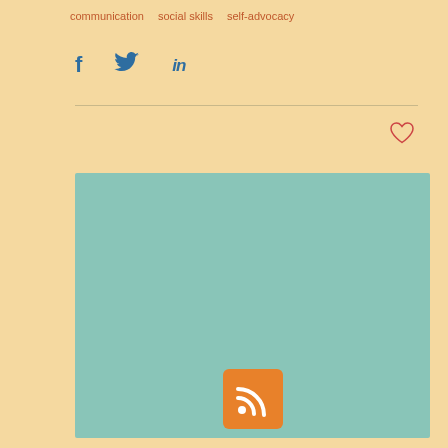communication   social skills   self-advocacy
[Figure (infographic): Social media sharing icons: Facebook (f), Twitter (bird), LinkedIn (in) in blue]
[Figure (infographic): Heart/like icon in red outline]
[Figure (infographic): RSS feed icon in orange square]
Featured Posts
[Figure (photo): A curly-haired boy holding an alarm clock with mouth open in exasperation, dark background, wearing grey shirt]